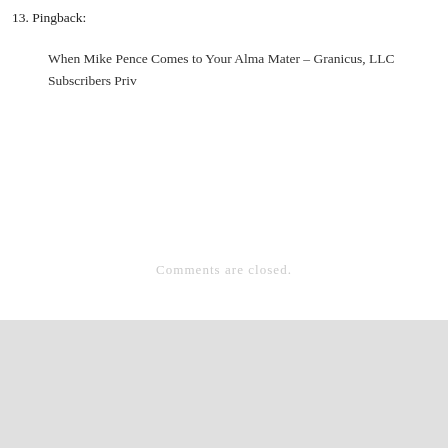13. Pingback:
When Mike Pence Comes to Your Alma Mater – Granicus, LLC Subscribers Priv
Comments are closed.
FOLLOW BLOG VIA EMAIL